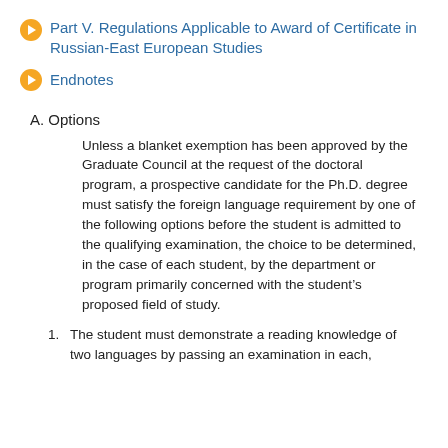Part V. Regulations Applicable to Award of Certificate in Russian-East European Studies
Endnotes
A. Options
Unless a blanket exemption has been approved by the Graduate Council at the request of the doctoral program, a prospective candidate for the Ph.D. degree must satisfy the foreign language requirement by one of the following options before the student is admitted to the qualifying examination, the choice to be determined, in the case of each student, by the department or program primarily concerned with the student’s proposed field of study.
1. The student must demonstrate a reading knowledge of two languages by passing an examination in each,